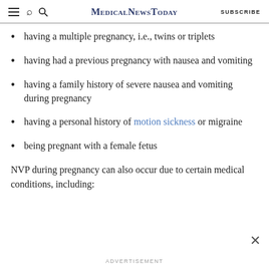MedicalNewsToday | SUBSCRIBE
having a multiple pregnancy, i.e., twins or triplets
having had a previous pregnancy with nausea and vomiting
having a family history of severe nausea and vomiting during pregnancy
having a personal history of motion sickness or migraine
being pregnant with a female fetus
NVP during pregnancy can also occur due to certain medical conditions, including:
ADVERTISEMENT